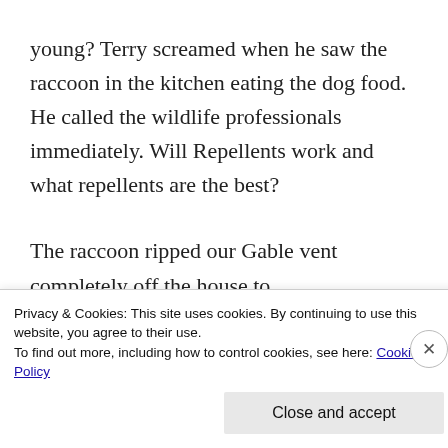young? Terry screamed when he saw the raccoon in the kitchen eating the dog food. He called the wildlife professionals immediately. Will Repellents work and what repellents are the best?

The raccoon ripped our Gable vent completely off the house to
Privacy & Cookies: This site uses cookies. By continuing to use this website, you agree to their use.
To find out more, including how to control cookies, see here: Cookie Policy
Close and accept